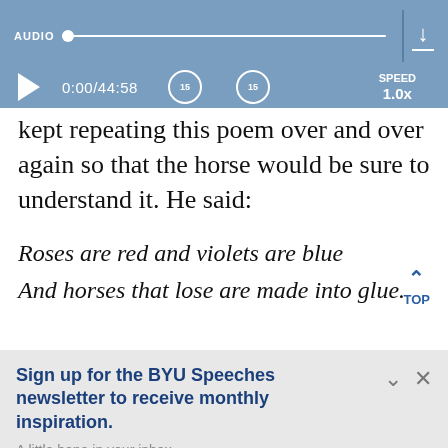[Figure (screenshot): Audio player bar with progress line, play button, time 0:00/44:58, skip-back and skip-forward 15s buttons, speed 1.0x, and download icon]
kept repeating this poem over and over again so that the horse would be sure to understand it. He said:
Roses are red and violets are blue
And horses that lose are made into glue.
TOP
Sign up for the BYU Speeches newsletter to receive monthly inspiration.
A little hope in your inbox.
Enter your email
SUBSCRIBE